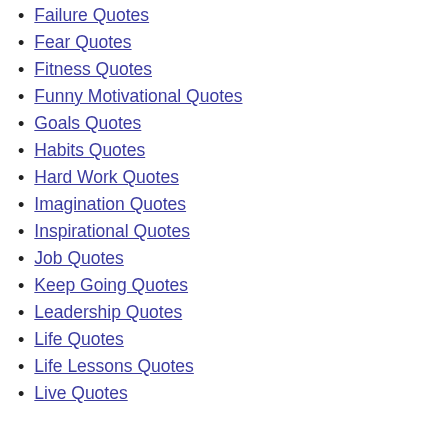Failure Quotes
Fear Quotes
Fitness Quotes
Funny Motivational Quotes
Goals Quotes
Habits Quotes
Hard Work Quotes
Imagination Quotes
Inspirational Quotes
Job Quotes
Keep Going Quotes
Leadership Quotes
Life Quotes
Life Lessons Quotes
Live Quotes